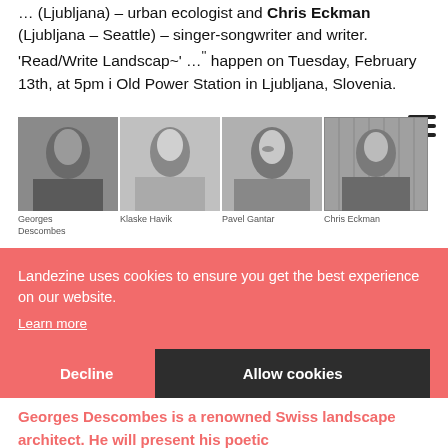... (Ljubljana) – urban ecologist and Chris Eckman (Ljubljana – Seattle) – singer-songwriter and writer. 'Read/Write Landscape' will happen on Tuesday, February 13th, at 5pm in Old Power Station in Ljubljana, Slovenia.
[Figure (photo): Four black and white portrait photos of speakers: Georges Descombes, Klaske Havik, Pavel Gantar, Chris Eckman]
Georges Descombes
Klaske Havik
Pavel Gantar
Chris Eckman
Landezine uses cookies to ensure you get the best experience on our website.
Learn more
Decline    Allow cookies
Georges Descombes is a renowned Swiss landscape architect. He will present his poetic